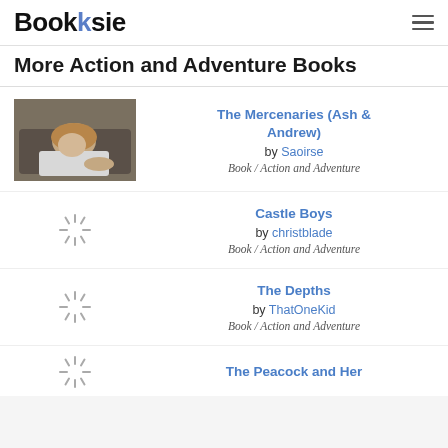Booksie
More Action and Adventure Books
[Figure (photo): Book cover photo: person lying on floor with head tilted back, wearing white clothing]
The Mercenaries (Ash & Andrew) by Saoirse
Book / Action and Adventure
[Figure (other): Loading spinner icon]
Castle Boys by christblade
Book / Action and Adventure
[Figure (other): Loading spinner icon]
The Depths by ThatOneKid
Book / Action and Adventure
[Figure (other): Loading spinner icon (partial)]
The Peacock and Her...